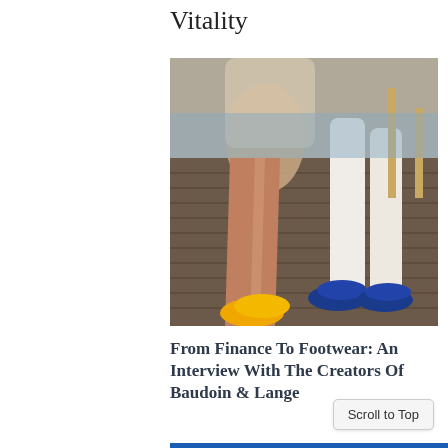Vitality
[Figure (photo): Two people sitting on a wooden dock wearing colorful shoes — a woman in denim shorts with yellow flats and a man wearing blue suede loafers.]
From Finance To Footwear: An Interview With The Creators Of Baudoin & Lange